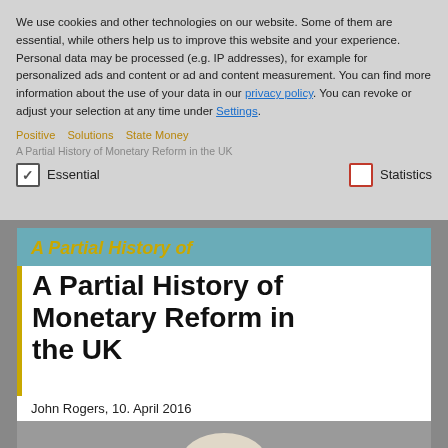We use cookies and other technologies on our website. Some of them are essential, while others help us to improve this website and your experience. Personal data may be processed (e.g. IP addresses), for example for personalized ads and content or ad and content measurement. You can find more information about the use of your data in our privacy policy. You can revoke or adjust your selection at any time under Settings.
Positive Money  Solutions  State Money
A Partial History of Monetary Reform in the UK
Essential   Statistics
A Partial History of Monetary Reform in the UK
John Rogers, 10. April 2016
[Figure (photo): Portrait photo of a person with light hair, partially visible at the bottom of the page]